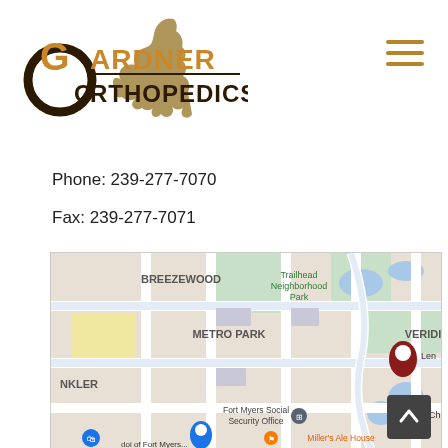[Figure (logo): Gardner Orthopedics logo with stylized bird and circular G symbol in brown/gold and dark brown colors]
[Figure (other): Hamburger menu icon (three horizontal lines) in gold/brown color]
Phone: 239-277-7070
Fax: 239-277-7071
[Figure (map): Google Maps view showing Fort Myers area with neighborhoods labeled: BREEZEWOOD, METRO PARK, VERIDI (partial), and landmarks including Trailhead Neighborhood Park, Fort Myers Social Security Office, Miller's Ale House, with a map pin marker visible]